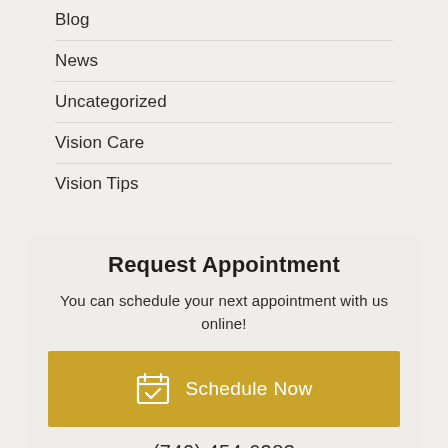Blog
News
Uncategorized
Vision Care
Vision Tips
Request Appointment
You can schedule your next appointment with us online!
Schedule Now
(740) 454-6283